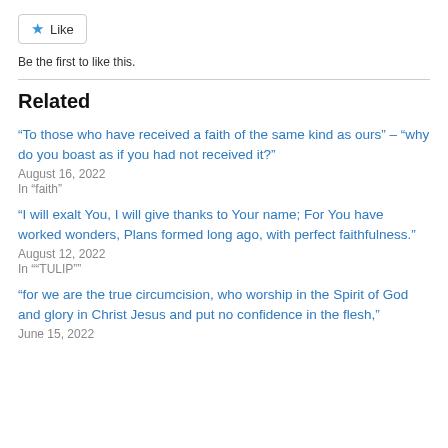[Figure (other): Like button with star icon]
Be the first to like this.
Related
“To those who have received a faith of the same kind as ours” – “why do you boast as if you had not received it?”
August 16, 2022
In "faith"
“I will exalt You, I will give thanks to Your name; For You have worked wonders, Plans formed long ago, with perfect faithfulness.”
August 12, 2022
In ""TULIP""
“for we are the true circumcision, who worship in the Spirit of God and glory in Christ Jesus and put no confidence in the flesh,”
June 15, 2022